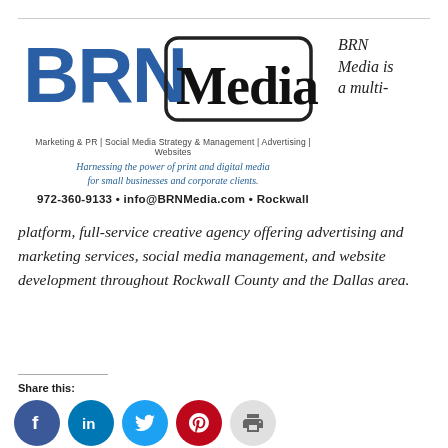[Figure (logo): BRN Media logo with blue BRN letters and black Media text in a rounded rectangle border]
BRN Media is a multi-
Marketing & PR | Social Media Strategy & Management | Advertising | Websites
Harnessing the power of print and digital media for small businesses and corporate clients.
972-360-9133 • info@BRNMedia.com • Rockwall
platform, full-service creative agency offering advertising and marketing services, social media management, and website development throughout Rockwall County and the Dallas area.
Share this:
[Figure (infographic): Social media share buttons: Facebook, LinkedIn, Twitter, Pinterest, Print]